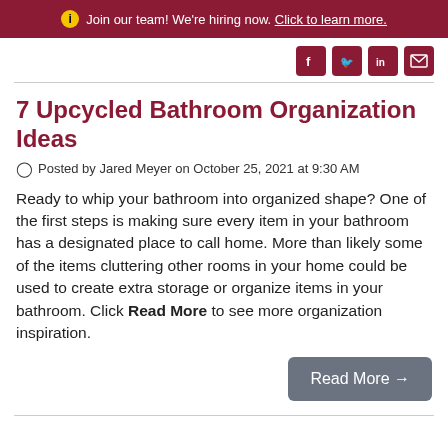Join our team! We're hiring now. Click to learn more.
[Figure (other): Social media sharing icons: Facebook, Twitter, LinkedIn, Email]
7 Upcycled Bathroom Organization Ideas
Posted by Jared Meyer on October 25, 2021 at 9:30 AM
Ready to whip your bathroom into organized shape? One of the first steps is making sure every item in your bathroom has a designated place to call home. More than likely some of the items cluttering other rooms in your home could be used to create extra storage or organize items in your bathroom. Click Read More to see more organization inspiration.